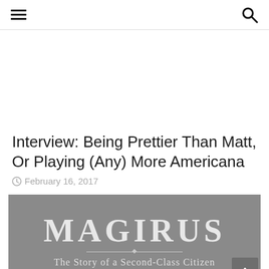Navigation menu and search icons
Interview: Being Prettier Than Matt, Or Playing (Any) More Americana
February 16, 2017
[Figure (photo): Book cover showing 'MAGIRUS' in large letters with subtitle 'The Story of a Second-Class Citizen' on a grey background]